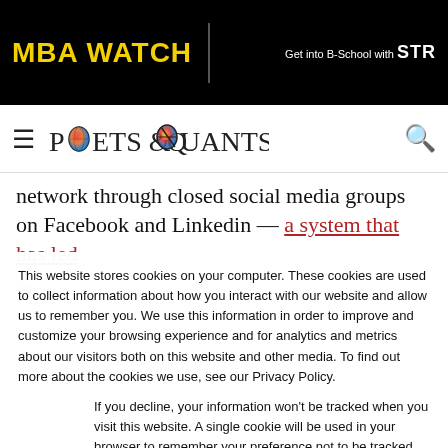MBA WATCH | Get into B-School with STR
[Figure (logo): Poets & Quants logo with hamburger menu and search icon]
network through closed social media groups on Facebook and Linkedin — a system that has led
This website stores cookies on your computer. These cookies are used to collect information about how you interact with our website and allow us to remember you. We use this information in order to improve and customize your browsing experience and for analytics and metrics about our visitors both on this website and other media. To find out more about the cookies we use, see our Privacy Policy.
If you decline, your information won't be tracked when you visit this website. A single cookie will be used in your browser to remember your preference not to be tracked.